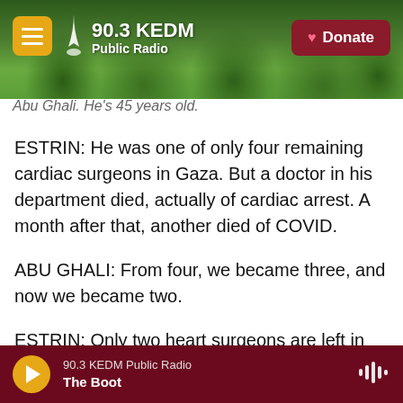90.3 KEDM Public Radio
Abu Ghali. He's 45 years old.
ESTRIN: He was one of only four remaining cardiac surgeons in Gaza. But a doctor in his department died, actually of cardiac arrest. A month after that, another died of COVID.
ABU GHALI: From four, we became three, and now we became two.
ESTRIN: Only two heart surgeons are left in Gaza for a population of 2 million. That's what Dr. Abu Ali told me when we spoke earlier this year. And it's still the case. He thinks Gaza needs 10 surgeons. In
90.3 KEDM Public Radio
The Boot